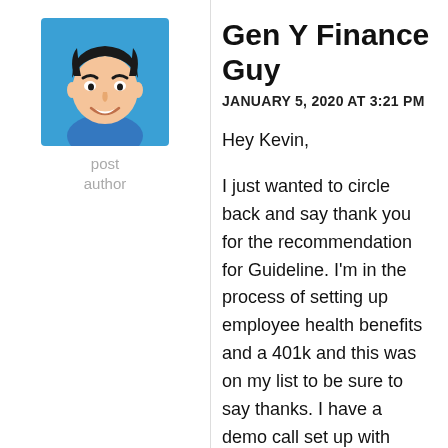[Figure (illustration): Cartoon avatar of Gen Y Finance Guy — an illustrated male character with dark hair, wearing a blue shirt, smiling, on a blue background square.]
post author
Gen Y Finance Guy
JANUARY 5, 2020 AT 3:21 PM
Hey Kevin,

I just wanted to circle back and say thank you for the recommendation for Guideline. I'm in the process of setting up employee health benefits and a 401k and this was on my list to be sure to say thanks. I have a demo call set up with them this next week. So easy! And it integrates with Quickbooks, which is what I use to run the back office of my business.